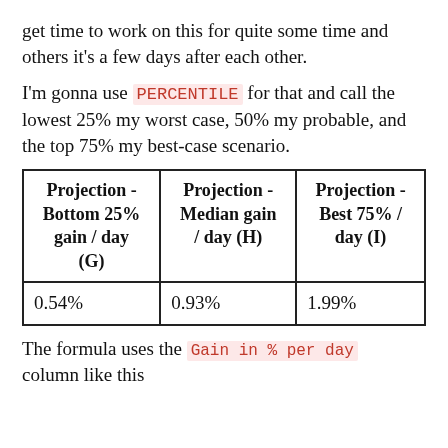get time to work on this for quite some time and others it's a few days after each other.
I'm gonna use PERCENTILE for that and call the lowest 25% my worst case, 50% my probable, and the top 75% my best-case scenario.
| Projection - Bottom 25% gain / day (G) | Projection - Median gain / day (H) | Projection - Best 75% / day (I) |
| --- | --- | --- |
| 0.54% | 0.93% | 1.99% |
The formula uses the Gain in % per day column like this